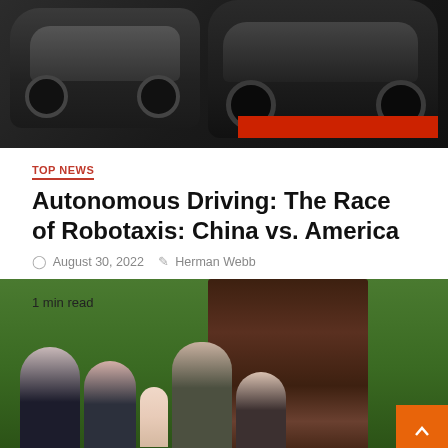[Figure (photo): Two dark luxury/electric vehicles on a dark background with a red accent element]
TOP NEWS
Autonomous Driving: The Race of Robotaxis: China vs. America
August 30, 2022  Herman Webb
[Figure (photo): Group of people including a baby smiling at camera, seated outdoors near corn field with brown curtain backdrop. Text overlay: 1 min read]